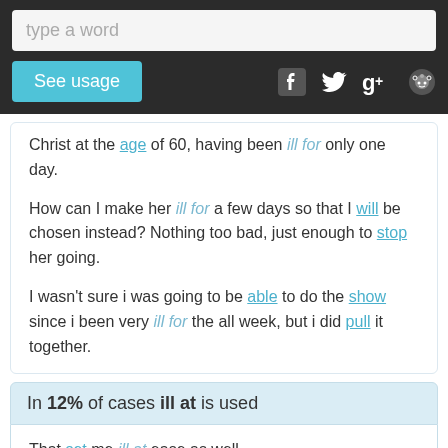type a word | See usage | [social icons]
Christ at the age of 60, having been ill for only one day.
How can I make her ill for a few days so that I will be chosen instead? Nothing too bad, just enough to stop her going.
I wasn't sure i was going to be able to do the show since i been very ill for the all week, but i did pull it together.
In 12% of cases ill at is used
That set me ill at ease as well.
I submit with a chill at my heart.
Paul himself was ill at times (Gal.